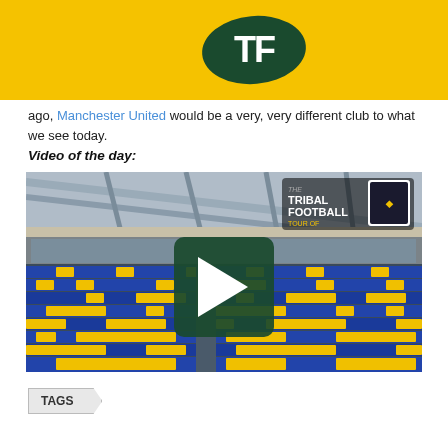TF (Tribal Football logo)
ago, Manchester United would be a very, very different club to what we see today.
Video of the day:
[Figure (photo): Stadium interior showing blue and yellow seats arranged in patterns, with covered upper tier and glass-fronted boxes. Play button overlay in center. Tribal Football 'Tour of Stadium' logo in top right corner.]
TAGS